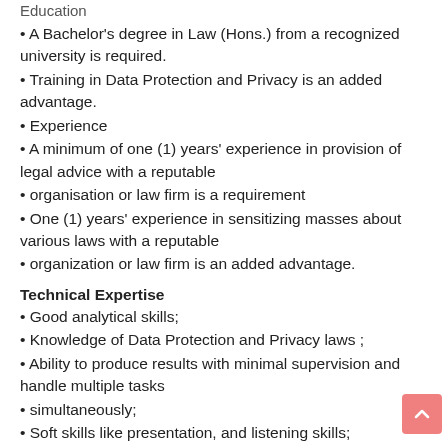Education
• A Bachelor's degree in Law (Hons.) from a recognized university is required.
• Training in Data Protection and Privacy is an added advantage.
• Experience
• A minimum of one (1) years' experience in provision of legal advice with a reputable
• organisation or law firm is a requirement
• One (1) years' experience in sensitizing masses about various laws with a reputable
• organization or law firm is an added advantage.
Technical Expertise
• Good analytical skills;
• Knowledge of Data Protection and Privacy laws ;
• Ability to produce results with minimal supervision and handle multiple tasks
• simultaneously;
• Soft skills like presentation, and listening skills;
• Excellent oral and written communication skills.